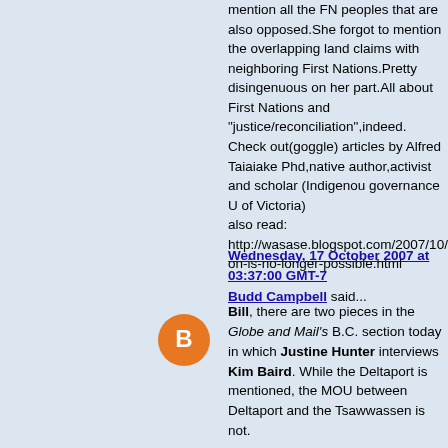mention all the FN peoples that are also opposed.She forgot to mention the overlapping land claims with neighboring First Nations.Pretty disingenuous on her part.All about First Nations and "justice/reconciliation",indeed.
Check out(goggle) articles by Alfred Taiaiake Phd,native author,activist and scholar (Indigenous governance U of Victoria)
also read:
http://wasase.blogspot.com/2007/10/procrastination-is-no-longer-possible.html
Wednesday, 17 October 2007 at 03:37:00 GMT-7
Budd Campbell said...
[Figure (illustration): Orange circular avatar with white blogger 'B' logo icon]
Bill, there are two pieces in the Globe and Mail's B.C. section today in which Justine Hunter interviews Kim Baird. While the Deltaport is mentioned, the MOU between Deltaport and the Tsawwassen is not.